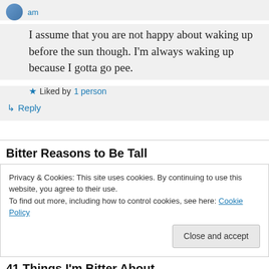am
I assume that you are not happy about waking up before the sun though. I'm always waking up because I gotta go pee.
Liked by 1 person
↳ Reply
Bitter Reasons to Be Tall
Privacy & Cookies: This site uses cookies. By continuing to use this website, you agree to their use.
To find out more, including how to control cookies, see here: Cookie Policy
Close and accept
41 Things I'm Bitter About